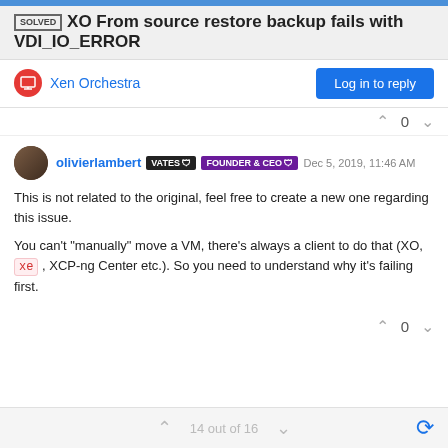[SOLVED] XO From source restore backup fails with VDI_IO_ERROR
Xen Orchestra
Log in to reply
0
olivierlambert VATES 🛡 FOUNDER & CEO 🛡 Dec 5, 2019, 11:46 AM
This is not related to the original, feel free to create a new one regarding this issue.
You can't "manually" move a VM, there's always a client to do that (XO, xe , XCP-ng Center etc.). So you need to understand why it's failing first.
0
14 out of 16